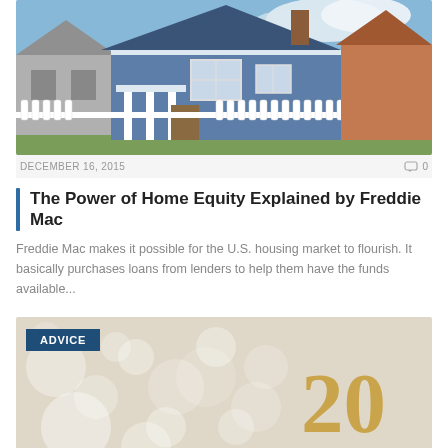[Figure (photo): Exterior photo of a blue house with white trim, porch, and white picket fence on a sunny day.]
DECEMBER 16, 2015
0
The Power of Home Equity Explained by Freddie Mac
Freddie Mac makes it possible for the U.S. housing market to flourish. It basically purchases loans from lenders to help them have the funds available...
[Figure (photo): Bokeh light background with gold metallic number 20 visible on the right side. An ADVICE badge overlay is shown in the top left.]